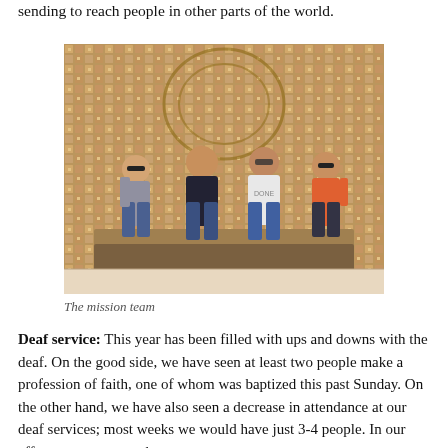sending to reach people in other parts of the world.
[Figure (photo): Four men sitting together in front of an ornate Moroccan tiled wall with geometric patterns. They are casually dressed.]
The mission team
Deaf service: This year has been filled with ups and downs with the deaf. On the good side, we have seen at least two people make a profession of faith, one of whom was baptized this past Sunday. On the other hand, we have also seen a decrease in attendance at our deaf services; most weeks we would have just 3-4 people. In our efforts to encourage the